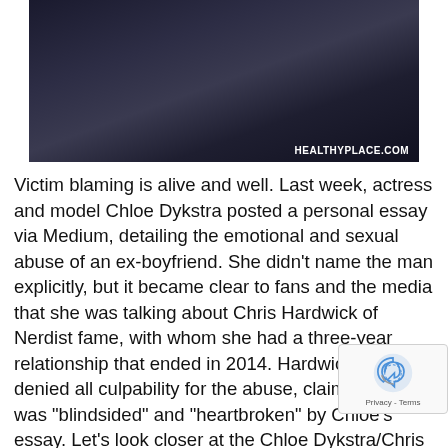[Figure (photo): Dark moody photograph with dim lighting, appears to show a dimly lit scene with fabric/bedding, watermark HEALTHYPLACE.COM in bottom right corner]
Victim blaming is alive and well. Last week, actress and model Chloe Dykstra posted a personal essay via Medium, detailing the emotional and sexual abuse of an ex-boyfriend. She didn't name the man explicitly, but it became clear to fans and the media that she was talking about Chris Hardwick of Nerdist fame, with whom she had a three-year relationship that ended in 2014. Hardwick has denied all culpability for the abuse, claiming he was "blindsided" and "heartbroken" by Chloe's essay. Let's look closer at the Chloe Dykstra/Chris Hardwick story, and why, in the age of #metoo, it's so easy for abusers, and the media, to automatically blame the victim.